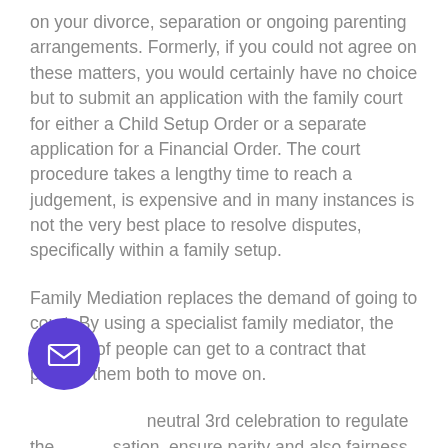on your divorce, separation or ongoing parenting arrangements. Formerly, if you could not agree on these matters, you would certainly have no choice but to submit an application with the family court for either a Child Setup Order or a separate application for a Financial Order. The court procedure takes a lengthy time to reach a judgement, is expensive and in many instances is not the very best place to resolve disputes, specifically within a family setup.
Family Mediation replaces the demand of going to court. By using a specialist family mediator, the majority of people can get to a contract that permits them both to move on.
[Figure (illustration): A circular purple button with a white envelope/mail icon in the center, positioned at lower left of the page.]
a neutral 3rd celebration to regulate the sation, ensure parity and also fairness while doing so and also keeps discussions on the important